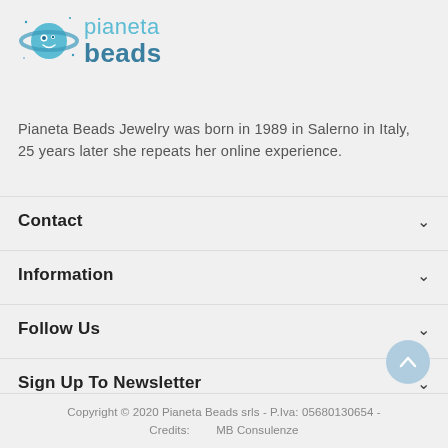[Figure (logo): Pianeta Beads logo with planet/Saturn illustration and text 'pianeta beads']
Pianeta Beads Jewelry was born in 1989 in Salerno in Italy, 25 years later she repeats her online experience.
Contact
Information
Follow Us
Sign Up To Newsletter
Copyright © 2020 Pianeta Beads srls - P.Iva: 05680130654 - Credits:        MB Consulenze